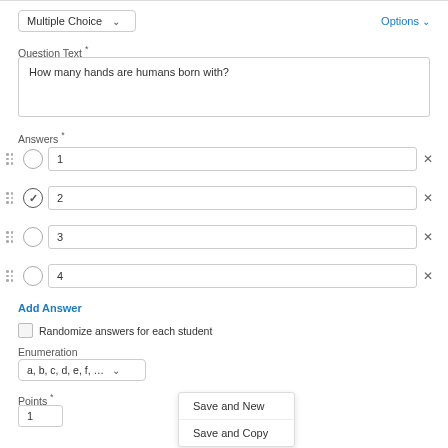Multiple Choice
Options
Question Text *
How many hands are humans born with?
Answers *
1
2 (checked/correct)
3
4
Add Answer
Randomize answers for each student
Enumeration
a, b, c, d, e, f, …
Points *
1
Save and New
Save and Copy